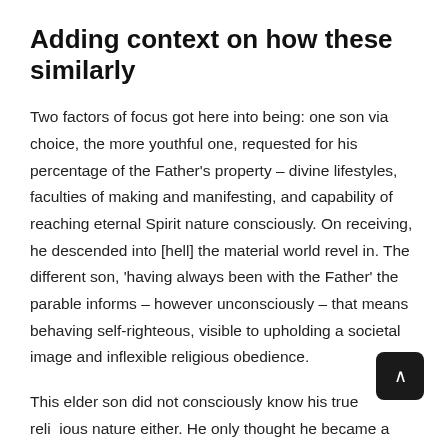Adding context on how these similarly
Two factors of focus got here into being: one son via choice, the more youthful one, requested for his percentage of the Father's property – divine lifestyles, faculties of making and manifesting, and capability of reaching eternal Spirit nature consciously. On receiving, he descended into [hell] the material world revel in. The different son, 'having always been with the Father' the parable informs – however unconsciously – that means behaving self-righteous, visible to upholding a societal image and inflexible religious obedience.
This elder son did not consciously know his true religious nature either. He only thought he became a very good man or woman and, knowing most effective anger, bitterness, and resentment, could not show off the soul's